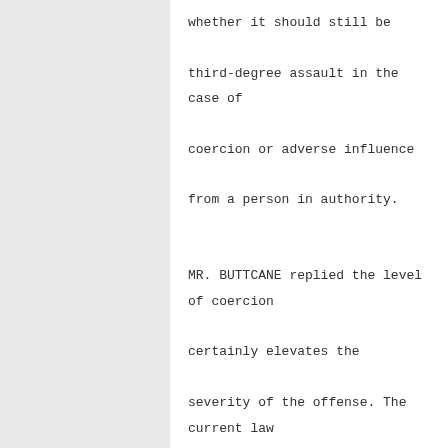whether it should still be third-degree assault in the case of coercion or adverse influence from a person in authority.

MR. BUTTCANE replied the level of coercion certainly elevates the severity of the offense. The current law allows for a more severe response for nonconsensual sexual contact. An unbalanced authority is inherent in a relationship between a correctional officer with a person in custody which warrants a felony level sexual assault with or without consent. But, if there is any degree of nonconsent, the penalty needs to be more